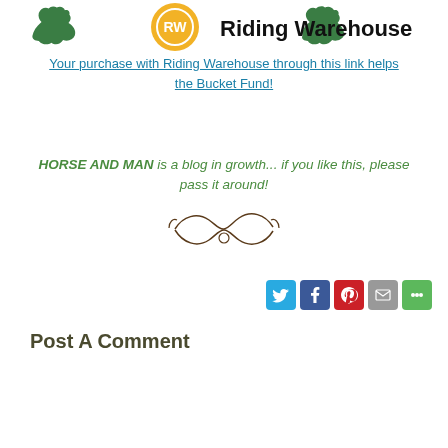[Figure (logo): Riding Warehouse logo with two green horses flanking an orange circular emblem and bold text 'Riding Warehouse']
Your purchase with Riding Warehouse through this link helps the Bucket Fund!
HORSE AND MAN is a blog in growth... if you like this, please pass it around!
[Figure (illustration): Decorative ornamental divider swirl]
[Figure (infographic): Social sharing icons: Twitter, Facebook, Pinterest, Email, More Options]
Post A Comment